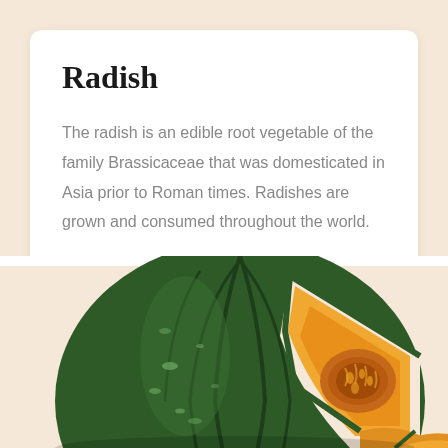Radish
The radish is an edible root vegetable of the family Brassicaceae that was domesticated in Asia prior to Roman times. Radishes are grown and consumed throughout the world.
[Figure (photo): A green kabocha squash/pumpkin with a wedge cut out revealing bright orange interior flesh and seeds]